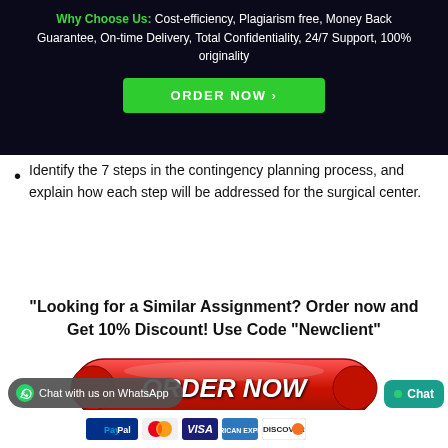[Figure (screenshot): Dark banner with green 'Why Choose Us:' label and white text listing benefits, plus a green ORDER NOW button]
Identify the 7 steps in the contingency planning process, and explain how each step will be addressed for the surgical center.
"Looking for a Similar Assignment? Order now and Get 10% Discount! Use Code "Newclient"
[Figure (screenshot): Red ORDER NOW button with italic white text, shadow, and decorative oval shape]
[Figure (screenshot): Payment logos: PayPal, MasterCard, Visa, American Express, Discover]
Chat with us on WhatsApp
Chat